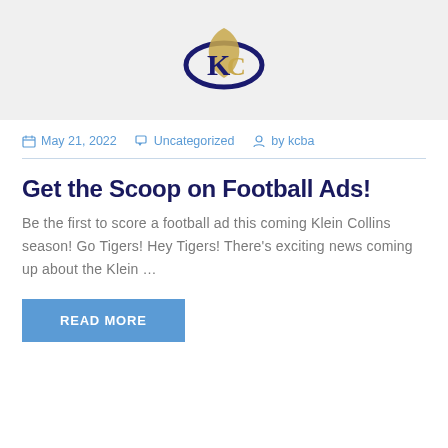[Figure (logo): Klein Collins KC monogram logo in navy blue and gold]
May 21, 2022   Uncategorized   by kcba
Get the Scoop on Football Ads!
Be the first to score a football ad this coming Klein Collins season! Go Tigers! Hey Tigers! There’s exciting news coming up about the Klein …
READ MORE